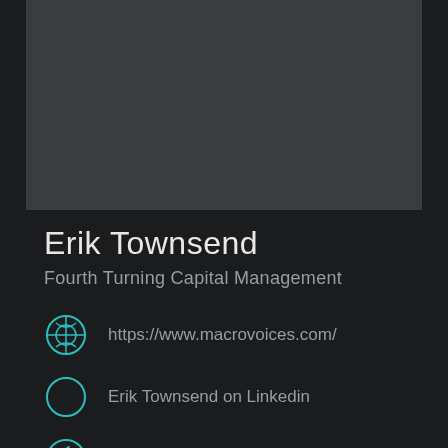[Figure (photo): Profile photo placeholder area, dark gray rectangle]
Erik Townsend
Fourth Turning Capital Management
https://www.macrovoices.com/
Erik Townsend on Linkedin
Erik Townsend on Twitter